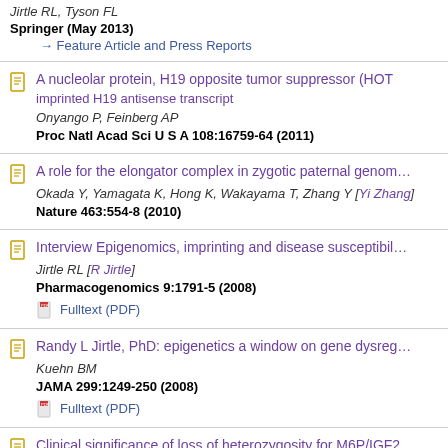Jirtle RL, Tyson FL
Springer (May 2013)
→ Feature Article and Press Reports
A nucleolar protein, H19 opposite tumor suppressor (HOT... imprinted H19 antisense transcript
Onyango P, Feinberg AP
Proc Natl Acad Sci U S A 108:16759-64 (2011)
A role for the elongator complex in zygotic paternal genom...
Okada Y, Yamagata K, Hong K, Wakayama T, Zhang Y [Yi Zhang]
Nature 463:554-8 (2010)
Interview Epigenomics, imprinting and disease susceptibil...
Jirtle RL [R Jirtle]
Pharmacogenomics 9:1791-5 (2008)
Fulltext (PDF)
Randy L Jirtle, PhD: epigenetics a window on gene dysreg...
Kuehn BM
JAMA 299:1249-250 (2008)
Fulltext (PDF)
Clinical significance of loss of heterozygosity for M6P/IGF2...
Jang HS, Kang KM, Choi BO, Chai GY, Hong SC, Ha WS, Jirtle RL
World J Gastroenterol 14:1394-8 (2008)
Fulltext (PDF)